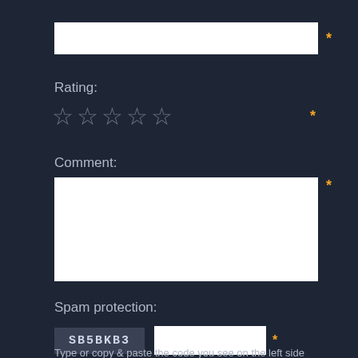[Figure (screenshot): Text input field with asterisk required indicator]
Rating:
[Figure (other): Five empty star rating icons with asterisk required indicator]
Comment:
[Figure (screenshot): Large textarea comment input field with asterisk required indicator]
Spam protection:
[Figure (screenshot): CAPTCHA box showing code SB5BKB3 with text input field and asterisk required indicator]
Type or copy & paste the code you see on the left side